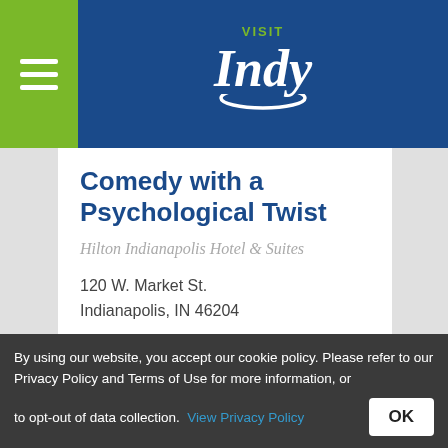VISIT Indy
Comedy with a Psychological Twist
Hilton Indianapolis Hotel & Suites
120 W. Market St.
Indianapolis, IN 46204
317-691-6399
DATE: September 3-December 31, 2022
TIME: 8:00 PM
By using our website, you accept our cookie policy. Please refer to our Privacy Policy and Terms of Use for more information, or to opt-out of data collection. View Privacy Policy OK